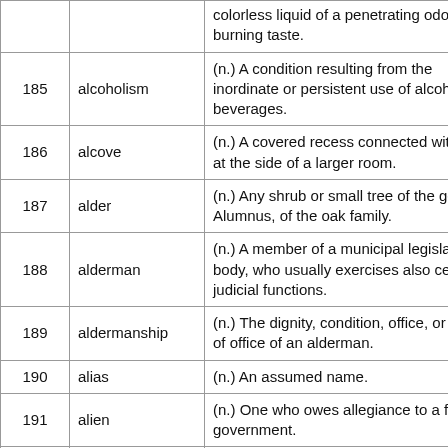| # | Word | Definition |
| --- | --- | --- |
|  |  | …colorless liquid of a penetrating odor and burning taste. |
| 185 | alcoholism | (n.) A condition resulting from the inordinate or persistent use of alcoholic beverages. |
| 186 | alcove | (n.) A covered recess connected with or at the side of a larger room. |
| 187 | alder | (n.) Any shrub or small tree of the genus Alumnus, of the oak family. |
| 188 | alderman | (n.) A member of a municipal legislative body, who usually exercises also certain judicial functions. |
| 189 | aldermanship | (n.) The dignity, condition, office, or term of office of an alderman. |
| 190 | alias | (n.) An assumed name. |
| 191 | alien | (n.) One who owes allegiance to a foreign government. |
| 192 | alienable | (adj.) Capable of being aliened or alienated, as lands. |
| 193 | alienate | (v.) To cause to turn away. |